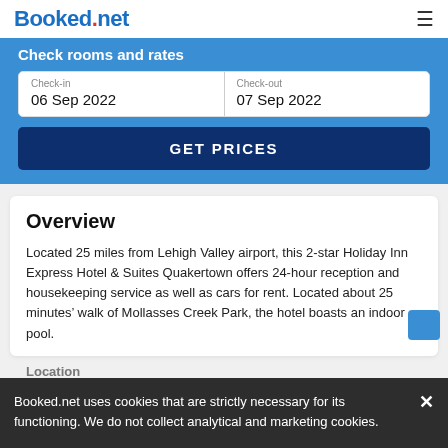Booked.net
Check rooms and rates
Check-in  06 Sep 2022   Check-out  07 Sep 2022
GET PRICES
Overview
Located 25 miles from Lehigh Valley airport, this 2-star Holiday Inn Express Hotel & Suites Quakertown offers 24-hour reception and housekeeping service as well as cars for rent. Located about 25 minutes’ walk of Mollasses Creek Park, the hotel boasts an indoor pool.
Location
Booked.net uses cookies that are strictly necessary for its functioning. We do not collect analytical and marketing cookies.